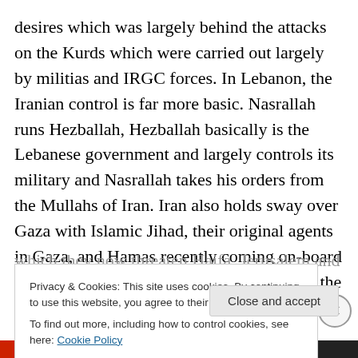desires which was largely behind the attacks on the Kurds which were carried out largely by militias and IRGC forces. In Lebanon, the Iranian control is far more basic. Nasrallah runs Hezballah, Hezballah basically is the Lebanese government and largely controls its military and Nasrallah takes his orders from the Mullahs of Iran. Iran also holds sway over Gaza with Islamic Jihad, their original agents in Gaza, and Hamas recently coming on-board and receiving additional rocket motors and the plans for machining additional motors providing them with enhanced range which they now threaten Haifa, Jerusalem and Tel Aviv
Privacy & Cookies: This site uses cookies. By continuing to use this website, you agree to their use.
To find out more, including how to control cookies, see here: Cookie Policy
Close and accept